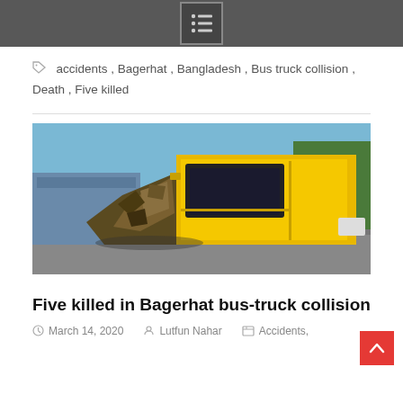accidents, Bagerhat, Bangladesh, Bus truck collision, Death, Five killed
[Figure (photo): A severely damaged yellow truck after a collision. The front of the truck is completely crushed and crumpled with metal torn apart. Trees are visible in the background.]
Five killed in Bagerhat bus-truck collision
March 14, 2020  Lutfun Nahar  Accidents,